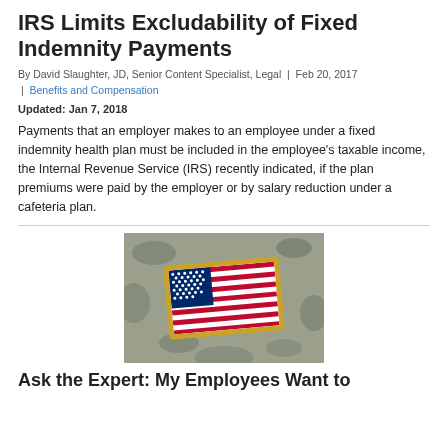IRS Limits Excludability of Fixed Indemnity Payments
By David Slaughter, JD, Senior Content Specialist, Legal | Feb 20, 2017 | Benefits and Compensation
Updated: Jan 7, 2018
Payments that an employer makes to an employee under a fixed indemnity health plan must be included in the employee's taxable income, the Internal Revenue Service (IRS) recently indicated, if the plan premiums were paid by the employer or by salary reduction under a cafeteria plan.
[Figure (photo): A US flag patch on military camouflage fabric, with gold border, displayed at an angle.]
Ask the Expert: My Employees Want to